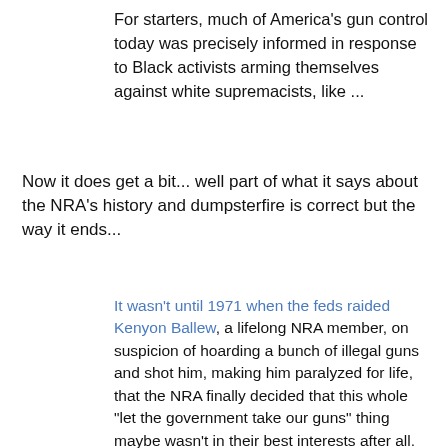For starters, much of America's gun control today was precisely informed in response to Black activists arming themselves against white supremacists, like ...
Now it does get a bit... well part of what it says about the NRA's history and dumpsterfire is correct but the way it ends...
It wasn't until 1971 when the feds raided Kenyon Ballew, a lifelong NRA member, on suspicion of hoarding a bunch of illegal guns and shot him, making him paralyzed for life, that the NRA finally decided that this whole "let the government take our guns" thing maybe wasn't in their best interests after all. Shocker. The proceeding outrage led to a striking change in the group's attitude, helping form the modern "gubbermint tyranny" NRA that you see to this day...